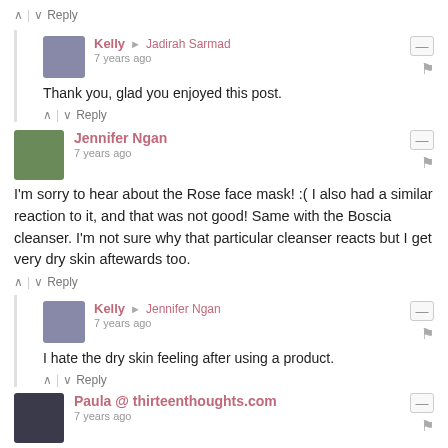^ | v Reply
Kelly → Jadirah Sarmad
7 years ago
Thank you, glad you enjoyed this post.
^ | v Reply
Jennifer Ngan
7 years ago
I'm sorry to hear about the Rose face mask! :( I also had a similar reaction to it, and that was not good! Same with the Boscia cleanser. I'm not sure why that particular cleanser reacts but I get very dry skin aftewards too.
^ | v Reply
Kelly → Jennifer Ngan
7 years ago
I hate the dry skin feeling after using a product.
^ | v Reply
Paula @ thirteenthoughts.com
7 years ago